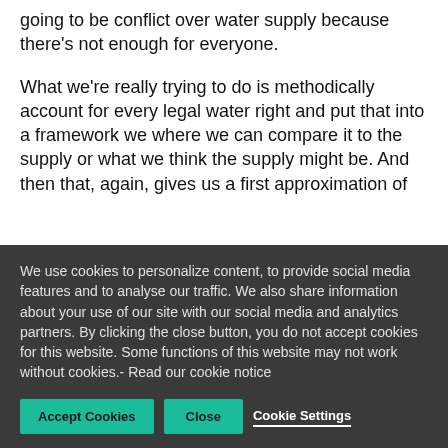going to be conflict over water supply because there's not enough for everyone.
What we're really trying to do is methodically account for every legal water right and put that into a framework we where we can compare it to the supply or what we think the supply might be. And then that, again, gives us a first approximation of
We use cookies to personalize content, to provide social media features and to analyse our traffic. We also share information about your use of our site with our social media and analytics partners. By clicking the close button, you do not accept cookies for this website. Some functions of this website may not work without cookies.- Read our cookie notice